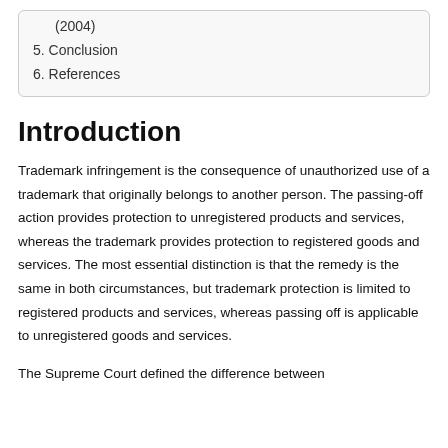(2004)
5. Conclusion
6. References
Introduction
Trademark infringement is the consequence of unauthorized use of a trademark that originally belongs to another person. The passing-off action provides protection to unregistered products and services, whereas the trademark provides protection to registered goods and services. The most essential distinction is that the remedy is the same in both circumstances, but trademark protection is limited to registered products and services, whereas passing off is applicable to unregistered goods and services.
The Supreme Court defined the difference between